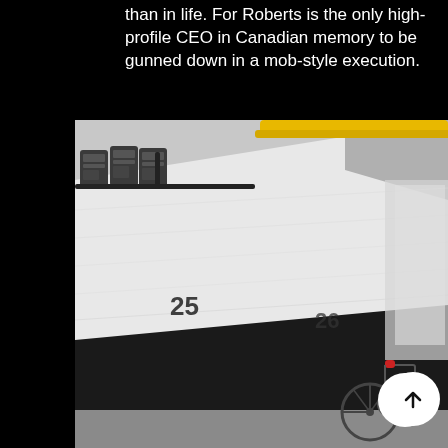than in life. For Roberts is the only high-profile CEO in Canadian memory to be gunned down in a mob-style execution.
[Figure (photo): Black and white photo of a parking garage interior showing a white painted wall with numbers '25' and '26' stenciled on it, dark (black) lower portion of wall, gas meters/pipes mounted on upper left, a yellow pipe/rail on ceiling, a wheelchair and bicycle visible at the right side, and a circular white scroll-up button overlaid at the bottom right.]